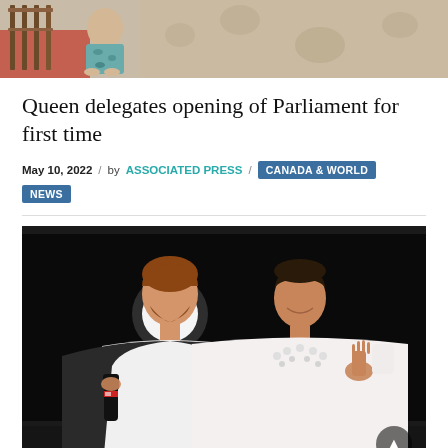[Figure (photo): Top portion of an image showing a person seated, partially cropped at top of page]
Queen delegates opening of Parliament for first time
May 10, 2022 / by ASSOCIATED PRESS / CANADA & WORLD | NEWS
[Figure (photo): Prince Harry holding a microphone and Meghan Markle waving, both standing on a dark stage with a bright light in the background]